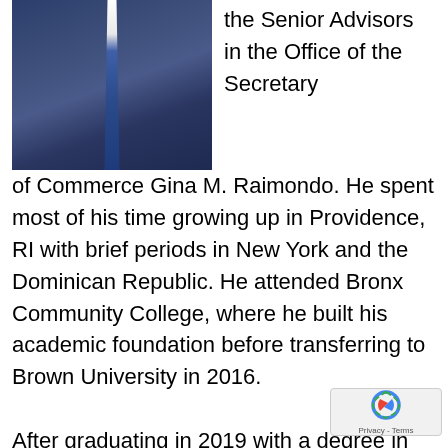[Figure (photo): Headshot photo of a man in a dark suit and blue tie, cropped to torso and lower face/neck area]
the Senior Advisors in the Office of the Secretary of Commerce Gina M. Raimondo. He spent most of his time growing up in Providence, RI with brief periods in New York and the Dominican Republic. He attended Bronx Community College, where he built his academic foundation before transferring to Brown University in 2016.
After graduating in 2019 with a degree in History, he joined Deloitte Consulting's Government and Public Services practice where he supported State and Federal Health agencies and socia...